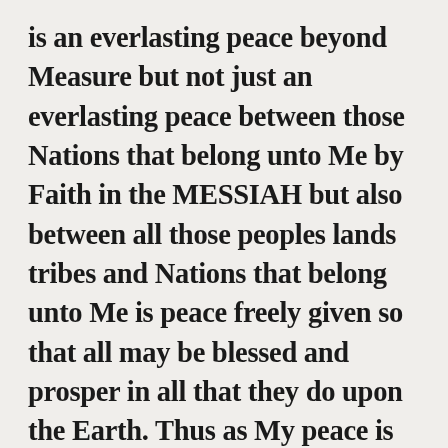is an everlasting peace beyond Measure but not just an everlasting peace between those Nations that belong unto Me by Faith in the MESSIAH but also between all those peoples lands tribes and Nations that belong unto Me is peace freely given so that all may be blessed and prosper in all that they do upon the Earth. Thus as My peace is feely given to all who belong unto Me so also is the water everlasting life by Me is freely given unto all who come to believe in and are redeemed and saved by Faith in the only true redeemer saviour and eternal Passover Lamb the